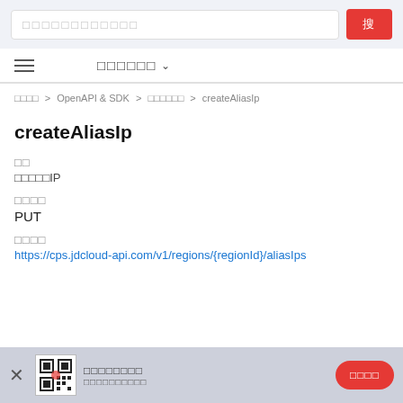搜索框 (search bar UI)
□□□□ > OpenAPI & SDK > □□□□□□ > createAliasIp
createAliasIp
功能
创建别名IP
请求方式
PUT
请求地址
https://cps.jdcloud-api.com/v1/regions/{regionId}/aliasIps